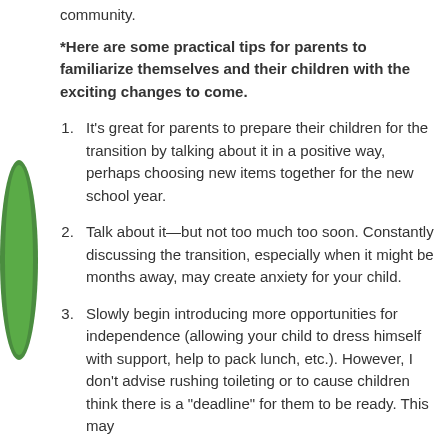community.
*Here are some practical tips for parents to familiarize themselves and their children with the exciting changes to come.
It's great for parents to prepare their children for the transition by talking about it in a positive way, perhaps choosing new items together for the new school year.
Talk about it—but not too much too soon. Constantly discussing the transition, especially when it might be months away, may create anxiety for your child.
Slowly begin introducing more opportunities for independence (allowing your child to dress himself with support, help to pack lunch, etc.). However, I don't advise rushing toileting or to cause children think there is a "deadline" for them to be ready. This may